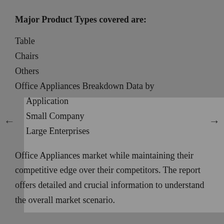Major Product Types covered are:
Table
Chairs
Others
Office Appliances Breakdown Data by
Application
Small Company
Large Enterprises
Office Appliances market while maintaining their competitive edge over their competitors. The report offers detailed and crucial information to understand the overall market scenario.